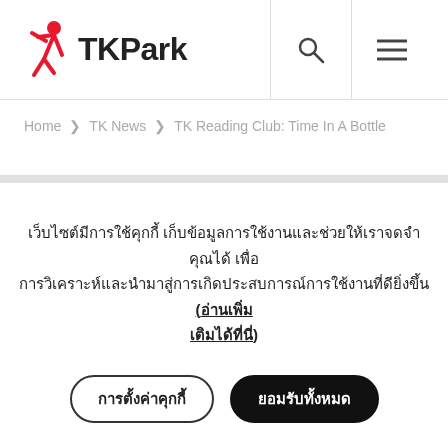TK Park
Home > TK News > TK Reading Club: Time In A Bottle
เว็บไซต์มีการใช้คุกกี้ เก็บข้อมูลการใช้งานและช่วยให้เราจดจำคุณได้ เพื่อการวิเคราะห์และนำมาสู่การเกิดประสบการณ์การใช้งานที่ดียิ่งขึ้น (อ่านเพิ่มเติมได้ที่นี่)
การตั้งค่าคุกกี้
ยอมรับทั้งหมด